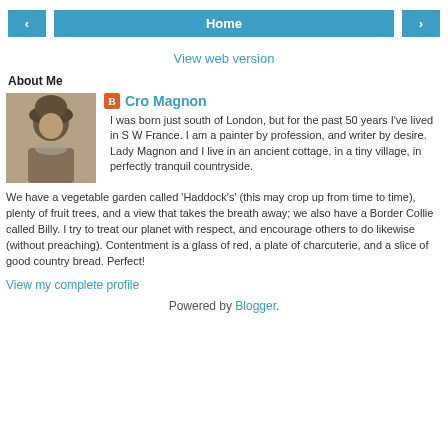< Home >
View web version
About Me
[Figure (photo): Profile photo of a person wearing a fur hat, sepia-toned.]
Cro Magnon

I was born just south of London, but for the past 50 years I've lived in S W France. I am a painter by profession, and writer by desire. Lady Magnon and I live in an ancient cottage, in a tiny village, in perfectly tranquil countryside. We have a vegetable garden called 'Haddock's' (this may crop up from time to time), plenty of fruit trees, and a view that takes the breath away; we also have a Border Collie called Billy. I try to treat our planet with respect, and encourage others to do likewise (without preaching). Contentment is a glass of red, a plate of charcuterie, and a slice of good country bread. Perfect!
View my complete profile
Powered by Blogger.